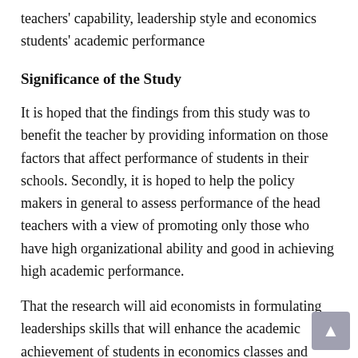teachers' capability, leadership style and economics students' academic performance
Significance of the Study
It is hoped that the findings from this study was to benefit the teacher by providing information on those factors that affect performance of students in their schools. Secondly, it is hoped to help the policy makers in general to assess performance of the head teachers with a view of promoting only those who have high organizational ability and good in achieving high academic performance.
That the research will aid economists in formulating leaderships skills that will enhance the academic achievement of students in economics classes and examination. The study will also help policy maker and curriculum planner in the educational instruction of economics in secondary schools in Ekiti state as well